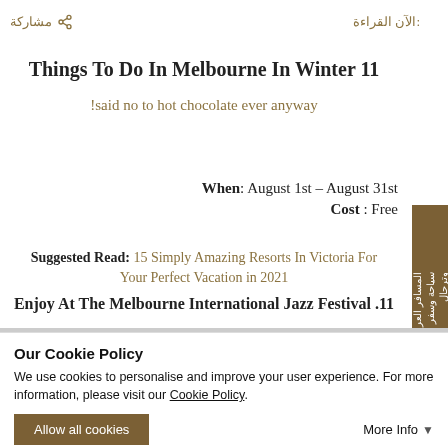الآن القراءة:   مشاركة
Things To Do In Melbourne In Winter 11
!said no to hot chocolate ever anyway
When: August 1st – August 31st
Cost : Free
Suggested Read: 15 Simply Amazing Resorts In Victoria For Your Perfect Vacation in 2021
Enjoy At The Melbourne International Jazz Festival .11
Our Cookie Policy
We use cookies to personalise and improve your user experience. For more information, please visit our Cookie Policy.
Allow all cookies   More Info